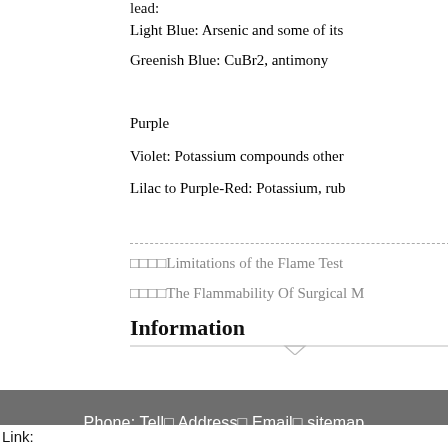lead:
Light Blue: Arsenic and some of its
Greenish Blue: CuBr2, antimony
Purple
Violet: Potassium compounds other
Lilac to Purple-Red: Potassium, rub
□□□□Limitations of the Flame Test
□□□□The Flammability Of Surgical M
Information
Needle flame testing machine tes
Phone: Tell□ Address□ Email□ sitemap
Link: